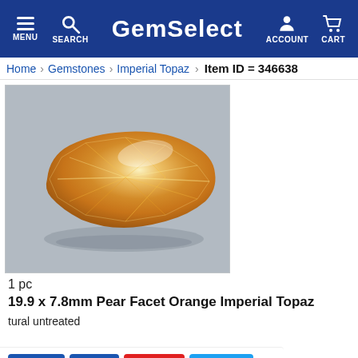GemSelect — MENU | SEARCH | ACCOUNT | CART
Home > Gemstones > Imperial Topaz   Item ID = 346638
[Figure (photo): A pear-shaped faceted orange Imperial Topaz gemstone photographed on a light grey background, showing golden-orange brilliance with faceted cuts.]
1 pc
19.9 x 7.8mm Pear Facet Orange Imperial Topaz
tural untreated
imperial Topaz -
Like  Share  Save  Tweet